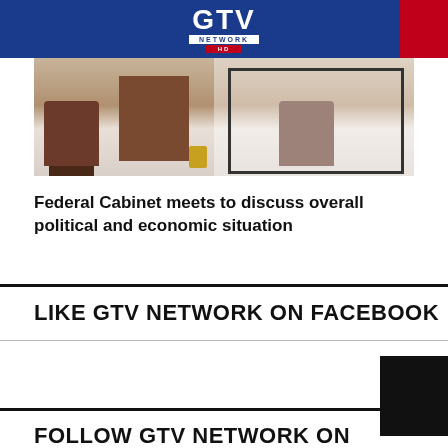[Figure (logo): GTV Network HD logo on blue header bar with red block on right]
[Figure (photo): Indoor photo showing wooden furniture including chairs and a desk on a decorative tiled floor]
Federal Cabinet meets to discuss overall political and economic situation
LIKE GTV NETWORK ON FACEBOOK
FOLLOW GTV NETWORK ON TWITTER